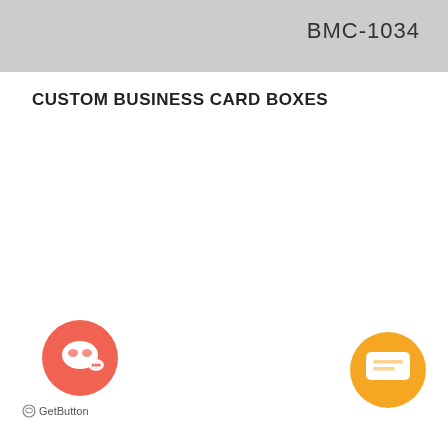BMC-1034
CUSTOM BUSINESS CARD BOXES
[Figure (logo): Red/coral circular chat bubble button (GetButton widget) with speech bubble icon]
[Figure (logo): Orange circular chat button with speech/comment icon in bottom right corner]
GetButton